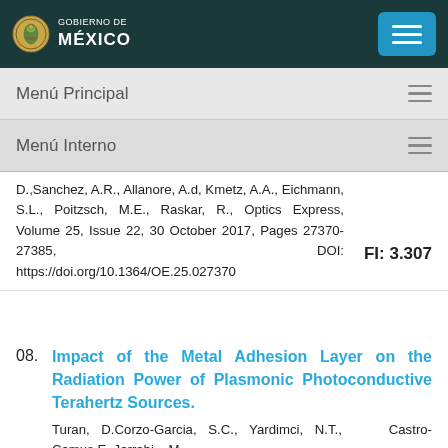[Figure (logo): Gobierno de México logo with eagle emblem and navigation bar]
Menú Principal
Menú Interno
D.,Sanchez, A.R., Allanore, A.d, Kmetz, A.A., Eichmann, S.L., Poitzsch, M.E., Raskar, R., Optics Express, Volume 25, Issue 22, 30 October 2017, Pages 27370-27385, DOI: https://doi.org/10.1364/OE.25.027370
FI: 3.307
08.
Impact of the Metal Adhesion Layer on the Radiation Power of Plasmonic Photoconductive Terahertz Sources.
Turan, D.Corzo-Garcia, S.C., Yardimci, N.T., Castro-Camus,E.,Jarrahi, M.